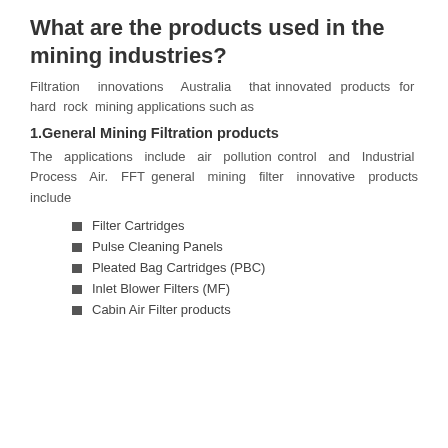What are the products used in the mining industries?
Filtration innovations Australia that innovated products for hard rock mining applications such as
1.General Mining Filtration products
The applications include air pollution control and Industrial Process Air. FFT general mining filter innovative products include
Filter Cartridges
Pulse Cleaning Panels
Pleated Bag Cartridges (PBC)
Inlet Blower Filters (MF)
Cabin Air Filter products